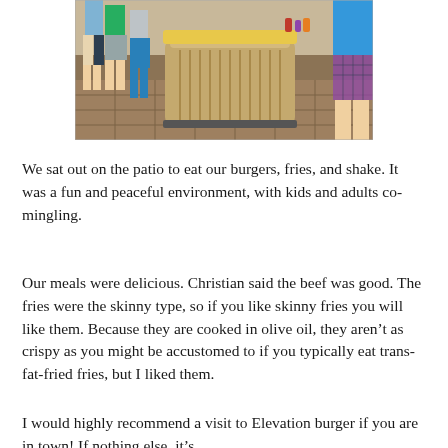[Figure (photo): Interior of a restaurant showing a wooden barrel-shaped counter/bar area with people standing around it. The floor has stone tiles. People are visible including a boy in a blue shirt and plaid shorts on the right. Condiment bottles visible on the counter top.]
We sat out on the patio to eat our burgers, fries, and shake. It was a fun and peaceful environment, with kids and adults co-mingling.
Our meals were delicious. Christian said the beef was good. The fries were the skinny type, so if you like skinny fries you will like them. Because they are cooked in olive oil, they aren't as crispy as you might be accustomed to if you typically eat trans-fat-fried fries, but I liked them.
I would highly recommend a visit to Elevation burger if you are in town! If nothing else, it's